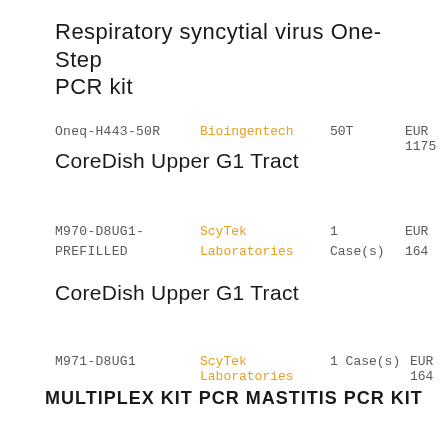Respiratory syncytial virus One-Step PCR kit
Oneq-H443-50R   Bioingentech   50T   EUR 1175
CoreDish Upper G1 Tract
M970-D8UG1-PREFILLED   ScyTek Laboratories   1 Case(s)   EUR 164
CoreDish Upper G1 Tract
M971-D8UG1   ScyTek Laboratories   1 Case(s)   EUR 164
MULTIPLEX KIT PCR MASTITIS PCR kit